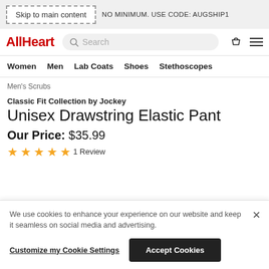Skip to main content
NO MINIMUM. USE CODE: AUGSHIP1
AllHeart Search Women Men Lab Coats Shoes Stethoscopes
Men's Scrubs
Classic Fit Collection by Jockey
Unisex Drawstring Elastic Pant
Our Price: $35.99
★★★★★ 1 Review
We use cookies to enhance your experience on our website and keep it seamless on social media and advertising.
Customize my Cookie Settings
Accept Cookies